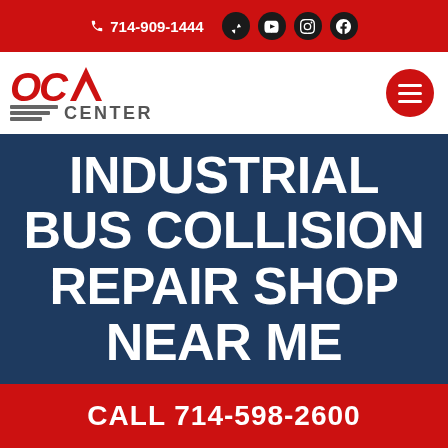714-909-1444
[Figure (logo): OCRV Center logo with red stylized letters and striped lines with CENTER text]
INDUSTRIAL BUS COLLISION REPAIR SHOP NEAR ME
CALL 714-598-2600